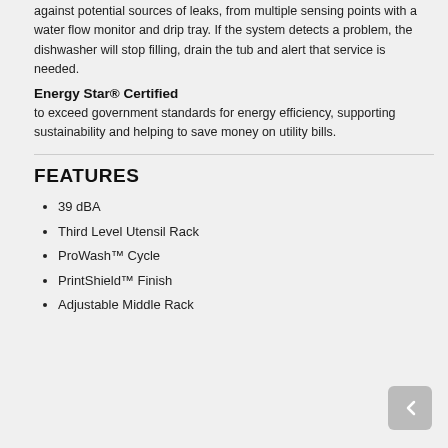against potential sources of leaks, from multiple sensing points with a water flow monitor and drip tray. If the system detects a problem, the dishwasher will stop filling, drain the tub and alert that service is needed.
Energy Star® Certified
to exceed government standards for energy efficiency, supporting sustainability and helping to save money on utility bills.
FEATURES
39 dBA
Third Level Utensil Rack
ProWash™ Cycle
PrintShield™ Finish
Adjustable Middle Rack